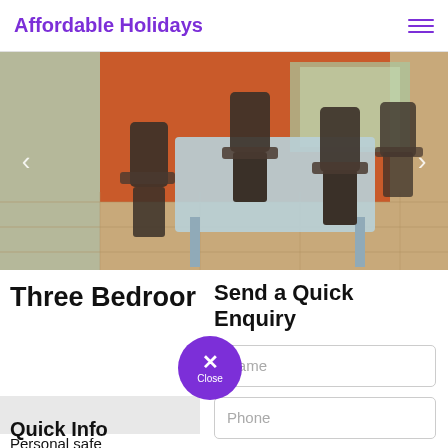Affordable Holidays
[Figure (photo): Interior photo of a dining area with dark wicker chairs around a light blue/grey table, terracotta-tiled floor, orange wall in background, taken in a holiday property.]
Three Bedroom
Send a Quick Enquiry
Name
Phone
Email
Quick Info
Personal safe